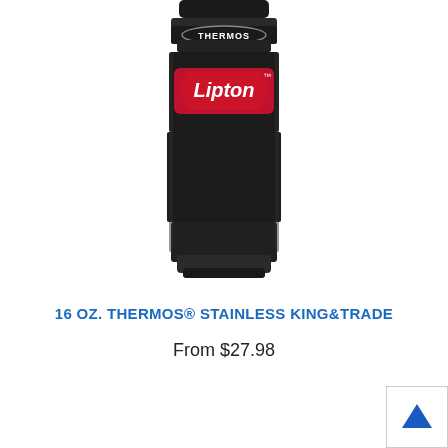[Figure (photo): A black matte Thermos Stainless King tumbler with the THERMOS logo at the top and a red Lipton branded label on the body. The product is shown from the front, cropped at the top.]
16 OZ. THERMOS® STAINLESS KING&TRADE
From $27.98